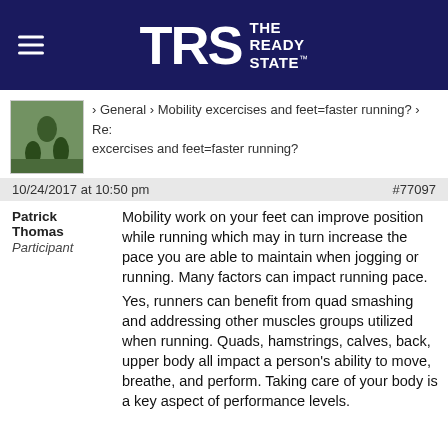TRS THE READY STATE
› General › Mobility excercises and feet=faster running? › Re: excercises and feet=faster running?
10/24/2017 at 10:50 pm   #77097
Patrick Thomas
Participant
Mobility work on your feet can improve position while running which may in turn increase the pace you are able to maintain when jogging or running. Many factors can impact running pace.
Yes, runners can benefit from quad smashing and addressing other muscles groups utilized when running. Quads, hamstrings, calves, back, upper body all impact a person's ability to move, breathe, and perform. Taking care of your body is a key aspect of performance levels.